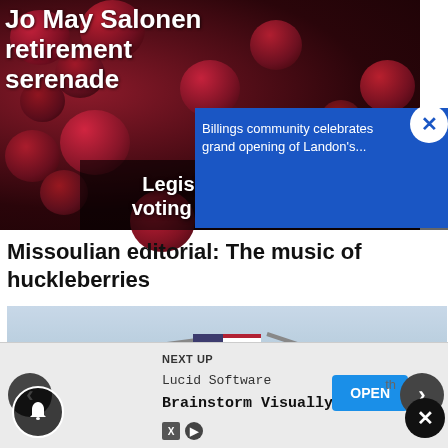[Figure (screenshot): Screenshot of a news website showing two overlapping story thumbnails: one with huckleberries/dark berries background with text 'Jo May Salonen retirement serenade' and another with text 'Legislation limits voting accessibility'. A blue popup overlay shows 'Billings community celebrates grand opening of Landon's...' with a close X button.]
Missoulian editorial: The music of huckleberries
[Figure (photo): Outdoor scene with cranes holding an American flag suspended between them, against a hazy sky background.]
[Figure (screenshot): Ad bar at bottom: NEXT UP label, Lucid Software advertisement 'Brainstorm Visually' with OPEN button, navigation arrows, and close button.]